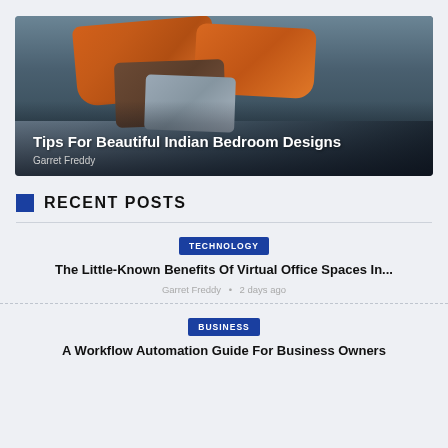[Figure (photo): Hero image of an Indian bedroom with orange and brown pillows on a bed, with a decorative wall in the background]
Tips For Beautiful Indian Bedroom Designs
Garret Freddy
RECENT POSTS
TECHNOLOGY
The Little-Known Benefits Of Virtual Office Spaces In...
Garret Freddy • 2 days ago
BUSINESS
A Workflow Automation Guide For Business Owners